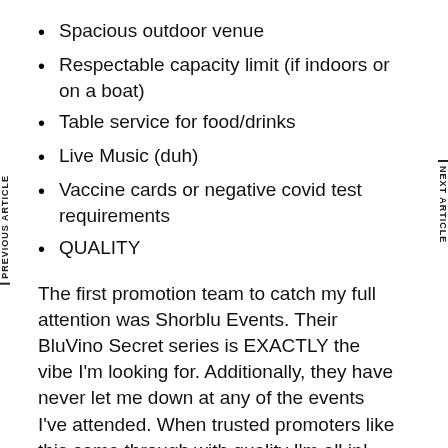Spacious outdoor venue
Respectable capacity limit (if indoors or on a boat)
Table service for food/drinks
Live Music (duh)
Vaccine cards or negative covid test requirements
QUALITY
The first promotion team to catch my full attention was Shorblu Events. Their BluVino Secret series is EXACTLY the vibe I'm looking for. Additionally, they have never let me down at any of the events I've attended. When trusted promoters like this come through with quality I'm all in!